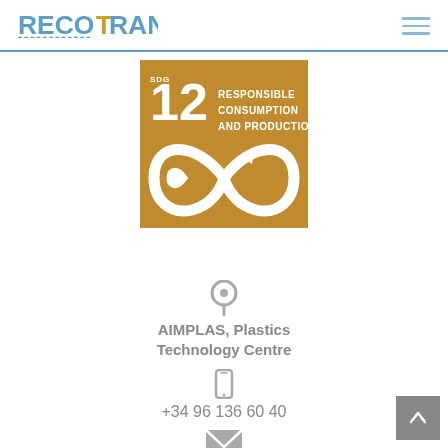RECOTRANS
[Figure (logo): SDG 12 - Responsible Consumption and Production badge in golden/amber color with infinity arrow symbol]
[Figure (infographic): Location pin icon, phone icon, and mail envelope icon with contact details for AIMPLAS Plastics Technology Centre]
AIMPLAS, Plastics Technology Centre
+34 96 136 60 40
recotrans@aimplas.es